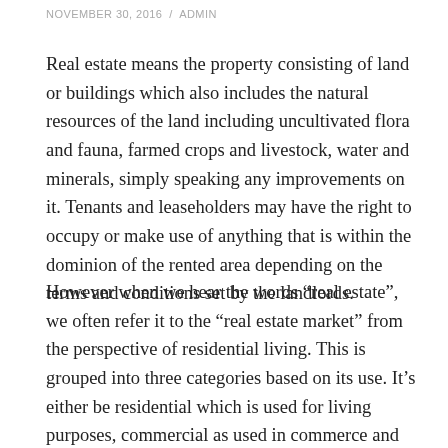NOVEMBER 30, 2016 / ADMIN
Real estate means the property consisting of land or buildings which also includes the natural resources of the land including uncultivated flora and fauna, farmed crops and livestock, water and minerals, simply speaking any improvements on it. Tenants and leaseholders may have the right to occupy or make use of anything that is within the dominion of the rented area depending on the terms and conditions set by the landlords.
However when we hear the words “real estate”, we often refer it to the “real estate market” from the perspective of residential living. This is grouped into three categories based on its use. It’s either be residential which is used for living purposes, commercial as used in commerce and industrial which is used in manufacture or production of goods. Residential are those undeveloped